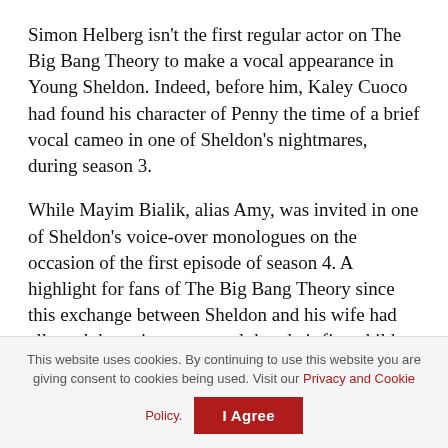Simon Helberg isn't the first regular actor on The Big Bang Theory to make a vocal appearance in Young Sheldon. Indeed, before him, Kaley Cuoco had found his character of Penny the time of a brief vocal cameo in one of Sheldon's nightmares, during season 3.
While Mayim Bialik, alias Amy, was invited in one of Sheldon's voice-over monologues on the occasion of the first episode of season 4. A highlight for fans of The Big Bang Theory since this exchange between Sheldon and his wife had allowed the writers to reveal that their first child would be called Leonard.
In France, Young Sheldon is broadcast on the NRJ12
This website uses cookies. By continuing to use this website you are giving consent to cookies being used. Visit our Privacy and Cookie Policy.